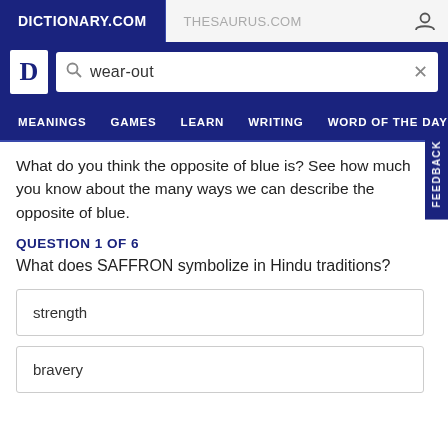DICTIONARY.COM | THESAURUS.COM
wear-out
MEANINGS  GAMES  LEARN  WRITING  WORD OF THE DAY
What do you think the opposite of blue is? See how much you know about the many ways we can describe the opposite of blue.
QUESTION 1 OF 6
What does SAFFRON symbolize in Hindu traditions?
strength
bravery